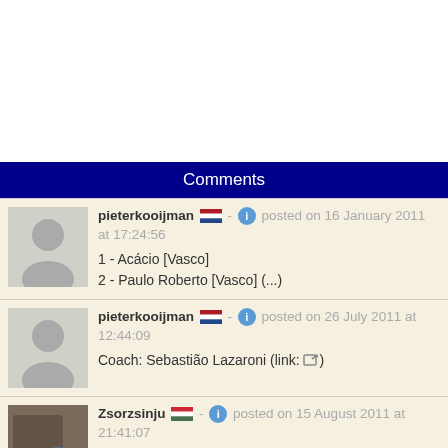Comments
pieterkooijman [NL flag] - [i] posted on 16 January 2011 at 17:24:56
1 - Acácio [Vasco]
2 - Paulo Roberto [Vasco] (...)
pieterkooijman [NL flag] - [i] posted on 26 July 2011 at 12:44:09
Coach: Sebastião Lazaroni (link: [icon])
Zsorzsinju [HU flag] - [i] posted on 15 August 2011 at 21:41:07
Brazil: (4-4-2)
Acacio Barreto, Paulo Roberto Costa, André
Cruz Ric...